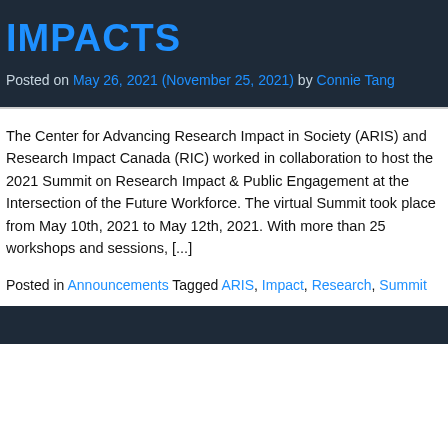IMPACTS
Posted on May 26, 2021 (November 25, 2021) by Connie Tang
The Center for Advancing Research Impact in Society (ARIS) and Research Impact Canada (RIC) worked in collaboration to host the 2021 Summit on Research Impact & Public Engagement at the Intersection of the Future Workforce. The virtual Summit took place from May 10th, 2021 to May 12th, 2021. With more than 25 workshops and sessions, [...]
Posted in Announcements Tagged ARIS, Impact, Research, Summit